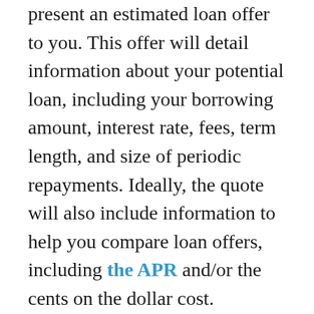present an estimated loan offer to you. This offer will detail information about your potential loan, including your borrowing amount, interest rate, fees, term length, and size of periodic repayments. Ideally, the quote will also include information to help you compare loan offers, including the APR and/or the cents on the dollar cost.
If you're still deciding between a few lenders, get an estimated loan offer from each one to easily compare your options.
Contrary to what many people think, being "prequalified" for a business loan does not